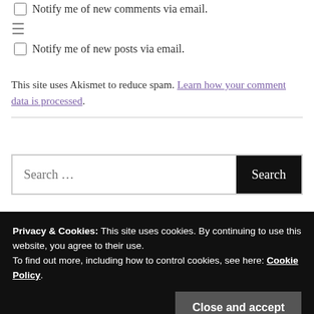Notify me of new comments via email.
≡
Notify me of new posts via email.
This site uses Akismet to reduce spam. Learn how your comment data is processed.
Search …
Privacy & Cookies: This site uses cookies. By continuing to use this website, you agree to their use.
To find out more, including how to control cookies, see here: Cookie Policy
Close and accept